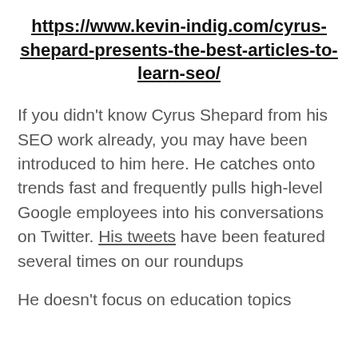https://www.kevin-indig.com/cyrus-shepard-presents-the-best-articles-to-learn-seo/
If you didn't know Cyrus Shepard from his SEO work already, you may have been introduced to him here. He catches onto trends fast and frequently pulls high-level Google employees into his conversations on Twitter. His tweets have been featured several times on our roundups
He doesn't focus on education topics